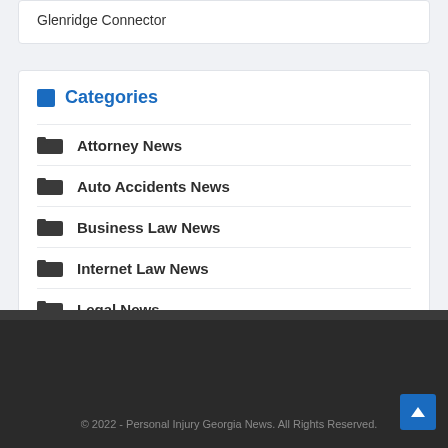Glenridge Connector
Categories
Attorney News
Auto Accidents News
Business Law News
Internet Law News
Legal News
© 2022 - Personal Injury Georgia News. All Rights Reserved.